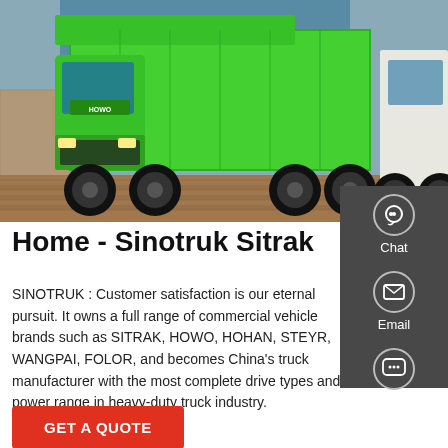[Figure (photo): Green HOWO/Sinotruk heavy-duty dump trucks parked outdoors, with a red display sign and partial white truck visible on the right side.]
Home - Sinotruk Sitrak
SINOTRUK : Customer satisfaction is our eternal pursuit. It owns a full range of commercial vehicle brands such as SITRAK, HOWO, HOHAN, STEYR, WANGPAI, FOLOR, and becomes China's truck manufacturer with the most complete drive types and power range in heavy-duty truck industry.
Chat
Email
Contact
GET A QUOTE